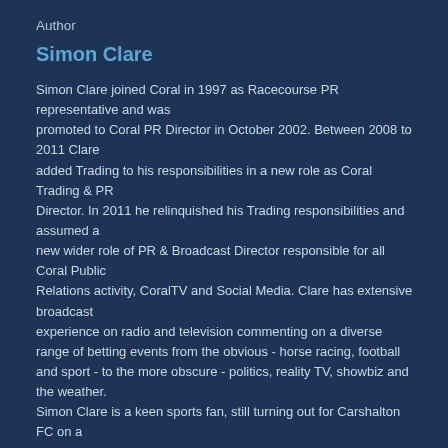Author
Simon Clare
Simon Clare joined Coral in 1997 as Racecourse PR representative and was promoted to Coral PR Director in October 2002. Between 2008 to 2011 Clare added Trading to his responsibilities in a new role as Coral Trading & PR Director. In 2011 he relinquished his Trading responsibilities and assumed a new wider role of PR & Broadcast Director responsible for all Coral Public Relations activity, CoralTV and Social Media. Clare has extensive broadcast experience on radio and television commenting on a diverse range of betting events from the obvious - horse racing, football and sport - to the more obscure - politics, reality TV, showbiz and the weather. Simon Clare is a keen sports fan, still turning out for Carshalton FC on a Saturday when work allows.